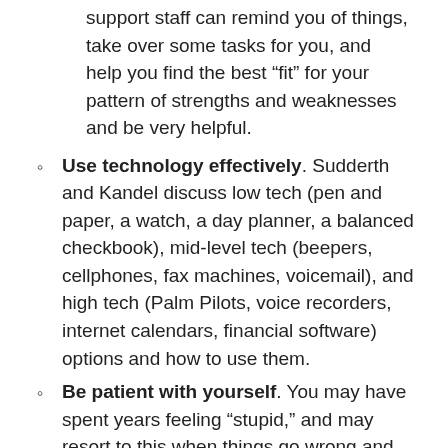more experienced managers, friends, and a good support staff can remind you of things, take over some tasks for you, and help you find the best “fit” for your pattern of strengths and weaknesses and be very helpful.
Use technology effectively. Sudderth and Kandel discuss low tech (pen and paper, a watch, a day planner, a balanced checkbook), mid-level tech (beepers, cellphones, fax machines, voicemail), and high tech (Palm Pilots, voice recorders, internet calendars, financial software) options and how to use them.
Be patient with yourself. You may have spent years feeling “stupid,” and may resort to this when things go wrong and give up too easily. Stick with things, keep a positive orientation and outlook, and remind yourself of your strengths every so often. Most tend to get worse as you get older.